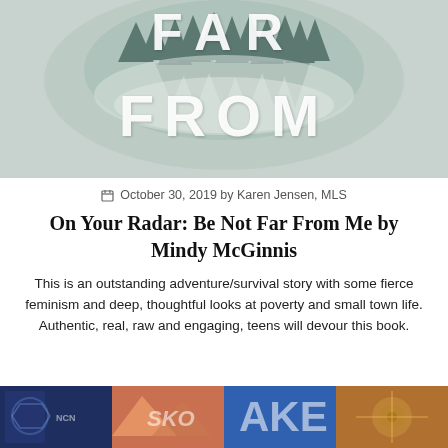[Figure (photo): Book cover of 'Be Not Far From Me' showing FAR FROM text with forest/nature imagery in dark teal tones]
October 30, 2019 by Karen Jensen, MLS
On Your Radar: Be Not Far From Me by Mindy McGinnis
This is an outstanding adventure/survival story with some fierce feminism and deep, thoughtful looks at poverty and small town life. Authentic, real, raw and engaging, teens will devour this book.
[Figure (photo): Row of four thumbnail book cover images at the bottom of the page]